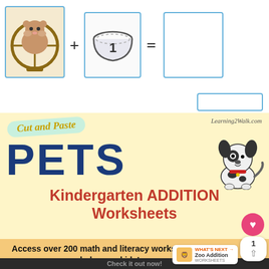[Figure (illustration): Worksheet preview showing hamster in wheel + bowl with number 1 + equals sign + answer box]
[Figure (illustration): Cover image for Cut and Paste Pets Kindergarten Addition Worksheets with dog illustration, on cream/yellow background. Website: Learning2Walk.com]
Access over 200 math and literacy worksheets to help your kids!
[Figure (illustration): What's Next widget showing Zoo Addition Worksheets]
Check it out now!